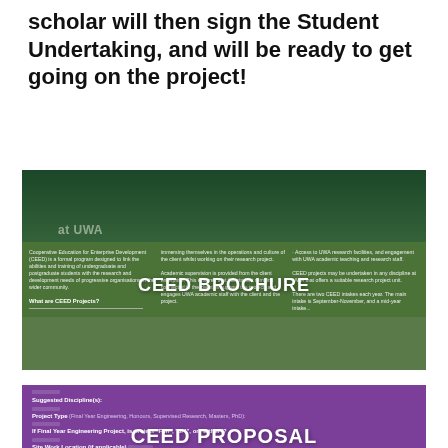scholar will then sign the Student Undertaking, and will be ready to get going on the project!
[Figure (screenshot): CEED Brochure promotional image showing an industrial/engineering background with green overlay. Contains three columns of small descriptive text about CEED, what CEED projects are, student immersion details, and access to UWA research facilities. Large white overlay text reads 'CEED BROCHURE'.]
[Figure (screenshot): CEED Proposal form section on purple background. Shows form fields: Suggested Discipline(s), Project Type (Final Year Engineering, Honours, Supervised Research, Masters, PhD), If Final Year Engineering Project is project Full/3/4/Either?, Site Work Location (if applicable), Number of Students. Large white overlay text reads 'CEED PROPOSAL'.]